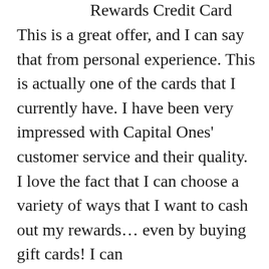Rewards Credit Card
This is a great offer, and I can say that from personal experience. This is actually one of the cards that I currently have. I have been very impressed with Capital Ones' customer service and their quality. I love the fact that I can choose a variety of ways that I want to cash out my rewards... even by buying gift cards! I can